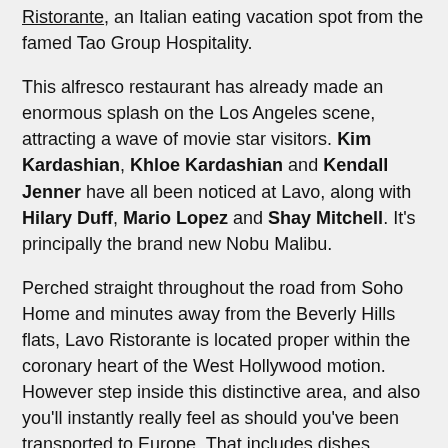Ristorante, an Italian eating vacation spot from the famed Tao Group Hospitality.
This alfresco restaurant has already made an enormous splash on the Los Angeles scene, attracting a wave of movie star visitors. Kim Kardashian, Khloe Kardashian and Kendall Jenner have all been noticed at Lavo, along with Hilary Duff, Mario Lopez and Shay Mitchell. It's principally the brand new Nobu Malibu.
Perched straight throughout the road from Soho Home and minutes away from the Beverly Hills flats, Lavo Ristorante is located proper within the coronary heart of the West Hollywood motion. However step inside this distinctive area, and also you'll instantly really feel as should you've been transported to Europe. That includes dishes